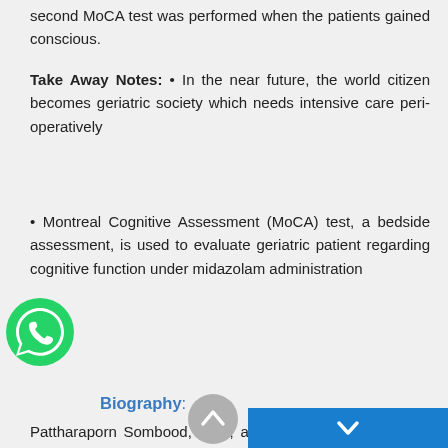second MoCA test was performed when the patients gained conscious.
Take Away Notes: • In the near future, the world citizen becomes geriatric society which needs intensive care peri-operatively
• Montreal Cognitive Assessment (MoCA) test, a bedside assessment, is used to evaluate geriatric patient regarding cognitive function under midazolam administration
Biography:
Pattharaporn Sombood, BNS, a full-time registered nurse, has got a Bachelor's d patienegree in 2007, and become Nurse Anesthetist in 2015. Currently, she is interested in interventional studies in radiologic and elderly patients.